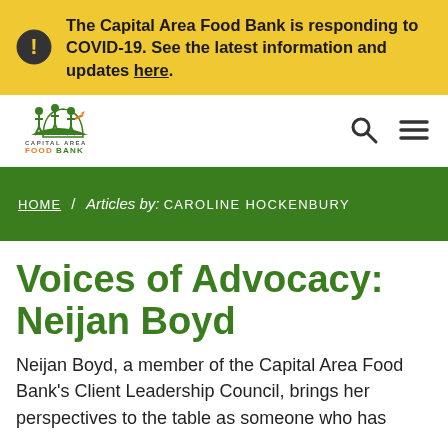The Capital Area Food Bank is responding to COVID-19. See the latest information and updates here.
[Figure (logo): Capital Area Food Bank logo with stylized figures and orange carrot]
[Figure (infographic): Search icon (magnifying glass) and hamburger menu icon for website navigation]
HOME / Articles by: CAROLINE HOCKENBURY
Voices of Advocacy: Neijan Boyd
Neijan Boyd, a member of the Capital Area Food Bank's Client Leadership Council, brings her perspectives to the table as someone who has